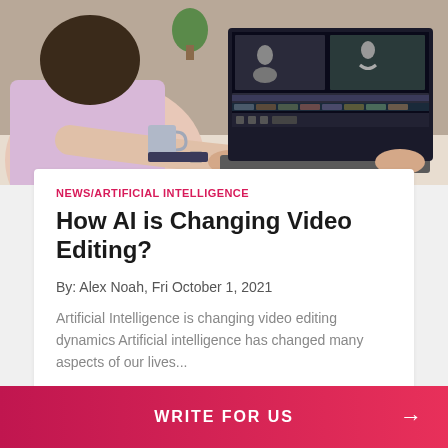[Figure (photo): Person sitting at a desk editing video on a laptop, viewed from behind/side. The laptop screen shows a video editing application with multiple clips and a timeline. A coffee mug and book are on the desk.]
NEWS/ARTIFICIAL INTELLIGENCE
How AI is Changing Video Editing?
By: Alex Noah, Fri October 1, 2021
Artificial Intelligence is changing video editing dynamics Artificial intelligence has changed many aspects of our lives...
WRITE FOR US →